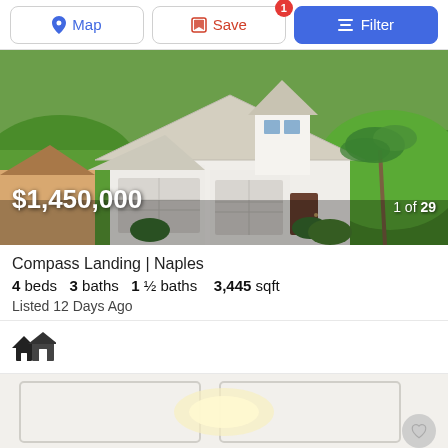Map | Save (1 saved) | Filter
[Figure (photo): Aerial view of a white single-story Florida home with tile roof, three-car garage, brick driveway, palm trees and green lawn. Price overlay: $1,450,000. Photo count: 1 of 29.]
Compass Landing | Naples
4 beds   3 baths   1 ½ baths   3,445 sqft
Listed 12 Days Ago
[Figure (photo): Interior photo showing white coffered ceiling with recessed lighting. Heart/save button overlay at bottom right.]